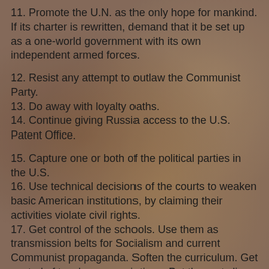11. Promote the U.N. as the only hope for mankind. If its charter is rewritten, demand that it be set up as a one-world government with its own independent armed forces.
12. Resist any attempt to outlaw the Communist Party.
13. Do away with loyalty oaths.
14. Continue giving Russia access to the U.S. Patent Office.
15. Capture one or both of the political parties in the U.S.
16. Use technical decisions of the courts to weaken basic American institutions, by claiming their activities violate civil rights.
17. Get control of the schools. Use them as transmission belts for Socialism and current Communist propaganda. Soften the curriculum. Get control of teachers associations. Put the party line in textbooks.
18. Gain control of all student newspapers.
19. Use student riots to foment public protests against programs or organizations that are under Communist attack.
20. Infiltrate the press. Get control of book review assignments, editorial writing, policy-making positions.
21. Gain control of key positions in radio, TV & motion